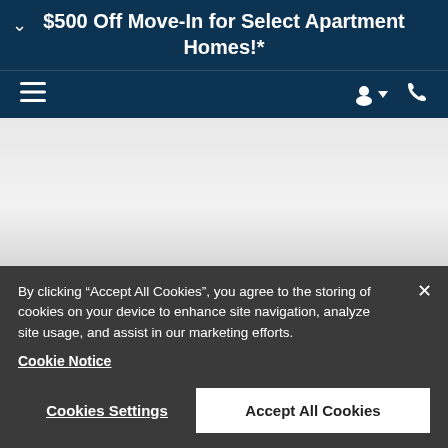$500 Off Move-In for Select Apartment Homes!*
[Figure (screenshot): Navigation bar with hamburger menu icon on the left and person/phone icons on the right, dark navy background]
[Figure (screenshot): Gray content area background, partially visible page content]
By clicking “Accept All Cookies”, you agree to the storing of cookies on your device to enhance site navigation, analyze site usage, and assist in our marketing efforts. Cookie Notice
Cookies Settings
Accept All Cookies